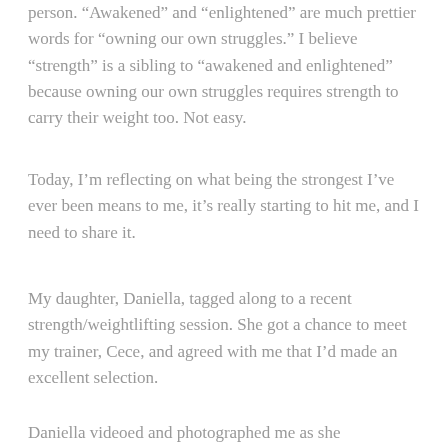person. “Awakened” and “enlightened” are much prettier words for “owning our own struggles.” I believe “strength” is a sibling to “awakened and enlightened” because owning our own struggles requires strength to carry their weight too. Not easy.
Today, I’m reflecting on what being the strongest I’ve ever been means to me, it’s really starting to hit me, and I need to share it.
My daughter, Daniella, tagged along to a recent strength/weightlifting session. She got a chance to meet my trainer, Cece, and agreed with me that I’d made an excellent selection.
Daniella videoed and photographed me as she